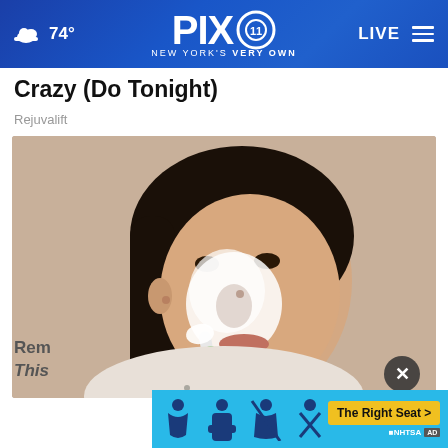PIX 11 – NEW YORK'S VERY OWN | 74° | LIVE
Crazy (Do Tonight)
Rejuvalift
[Figure (photo): A woman applying a white skincare face mask/cream with a toothbrush-like tool to her nose area, looking at camera. She has straight black hair, a white patterned top, and the creamy product is visible on her nose and surrounding area.]
Rem
This
[Figure (infographic): NHTSA The Right Seat advertisement banner with light blue background, showing car seat safety icons and a yellow call-to-action button reading 'The Right Seat >']